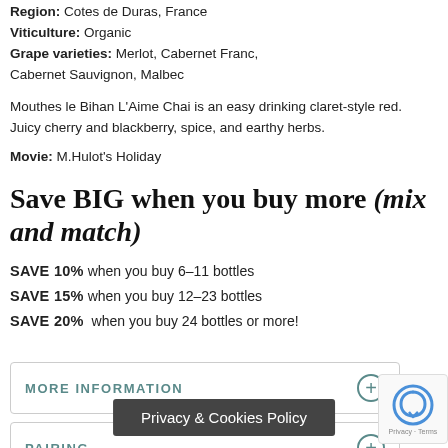Region: Cotes de Duras, France
Viticulture: Organic
Grape varieties: Merlot, Cabernet Franc, Cabernet Sauvignon, Malbec
Mouthes le Bihan L'Aime Chai is an easy drinking claret-style red. Juicy cherry and blackberry, spice, and earthy herbs.
Movie: M.Hulot's Holiday
Save BIG when you buy more (mix and match)
SAVE 10% when you buy 6-11 bottles
SAVE 15% when you buy 12-23 bottles
SAVE 20% when you buy 24 bottles or more!
MORE INFORMATION
PAIRING
Privacy & Cookies Policy